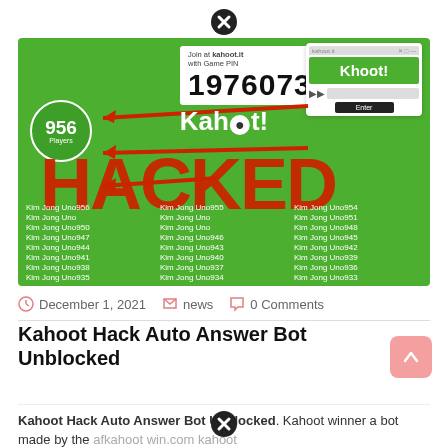[Figure (screenshot): Kahoot game screenshot showing 956 players joined with game PIN 1976073, with large red 'HACKED' text overlay and multiple players named 'Kim Jong Uno' followed by numbers]
December 1, 2021   news   0 Comments
Kahoot Hack Auto Answer Bot Unblocked
Kahoot Hack Auto Answer Bot Unblocked. Kahoot winner a bot made by the afkahoot win.com kahoot